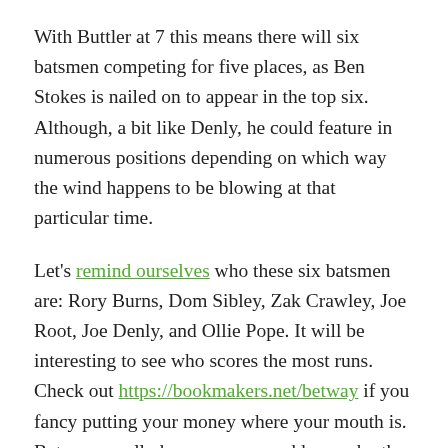With Buttler at 7 this means there will six batsmen competing for five places, as Ben Stokes is nailed on to appear in the top six. Although, a bit like Denly, he could feature in numerous positions depending on which way the wind happens to be blowing at that particular time.
Let's remind ourselves who these six batsmen are: Rory Burns, Dom Sibley, Zak Crawley, Joe Root, Joe Denly, and Ollie Pope. It will be interesting to see who scores the most runs. Check out https://bookmakers.net/betway if you fancy putting your money where your mouth is. Betway usually have generous odds on who the